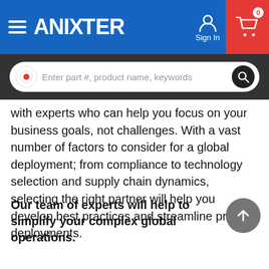ANIXTER — Sign In — Cart (0)
with experts who can help you focus on your business goals, not challenges. With a vast number of factors to consider for a global deployment; from compliance to technology selection and supply chain dynamics, selecting the right partner will help you develop best practices and streamline project deployments.
Our team of experts will help to simplify your complex global operations.